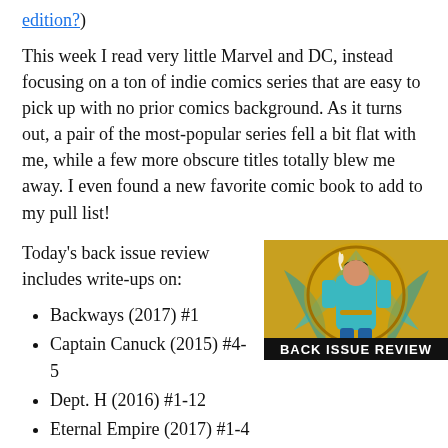edition?)
This week I read very little Marvel and DC, instead focusing on a ton of indie comics series that are easy to pick up with no prior comics background. As it turns out, a pair of the most-popular series fell a bit flat with me, while a few more obscure titles totally blew me away. I even found a new favorite comic book to add to my pull list!
Today's back issue review includes write-ups on:
[Figure (illustration): Comic book cover image with text 'BACK ISSUE REVIEW' at the bottom, showing a colorful superhero character in front of an ornate golden background.]
Backways (2017) #1
Captain Canuck (2015) #4-5
Dept. H (2016) #1-12
Eternal Empire (2017) #1-4
Gasolina (2017) #1-4